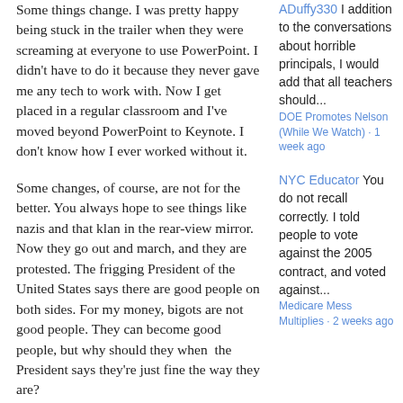Some things change. I was pretty happy being stuck in the trailer when they were screaming at everyone to use PowerPoint. I didn't have to do it because they never gave me any tech to work with. Now I get placed in a regular classroom and I've moved beyond PowerPoint to Keynote. I don't know how I ever worked without it.
Some changes, of course, are not for the better. You always hope to see things like nazis and that klan in the rear-view mirror. Now they go out and march, and they are protested. The frigging President of the United States says there are good people on both sides. For my money, bigots are not good people. They can become good people, but why should they when the President says they're just fine the way they are?
Then we come to one of my favorite topics, which is union, which is us. Are we luncheonettes, or alcohol? Or are we something altogether different? The struggle of working people to make a living is not going anywhere soon. The fact that many of us manage to do so is not accidental. As much as people like me complain about the UFT leadership, we're doing
ADuffy330 I addition to the conversations about horrible principals, I would add that all teachers should...
DOE Promotes Nelson (While We Watch) · 1 week ago
NYC Educator You do not recall correctly. I told people to vote against the 2005 contract, and voted against...
Medicare Mess Multiplies · 2 weeks ago